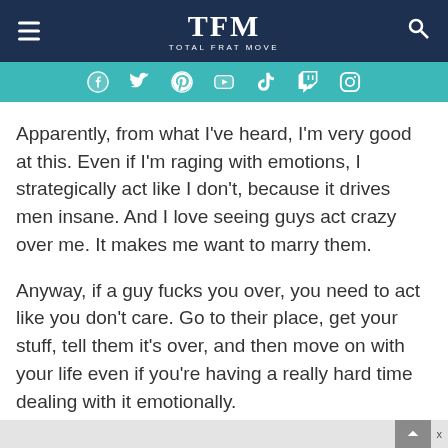TFM TOTAL FRAT MOVE
Apparently, from what I've heard, I'm very good at this. Even if I'm raging with emotions, I strategically act like I don't, because it drives men insane. And I love seeing guys act crazy over me. It makes me want to marry them.
Anyway, if a guy fucks you over, you need to act like you don't care. Go to their place, get your stuff, tell them it's over, and then move on with your life even if you're having a really hard time dealing with it emotionally.